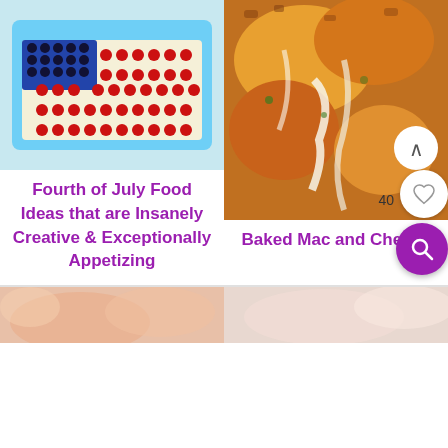[Figure (photo): American flag design made on a tray with blueberries as the star field and cherry tomatoes as the red stripes on a base of shredded white cheese]
[Figure (photo): Close-up of baked mac and cheese with crispy golden breadcrumb topping, showing melted cheesy strings]
Fourth of July Food Ideas that are Insanely Creative & Exceptionally Appetizing
40
Baked Mac and Cheese
[Figure (photo): Partial view of a food dish, bottom left]
[Figure (photo): Partial view of a food dish, bottom right]